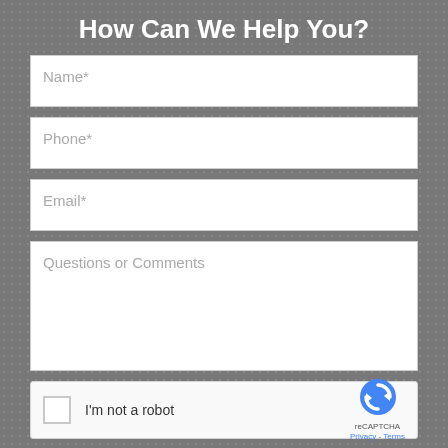How Can We Help You?
Name*
Phone*
Email*
Questions or Comments
[Figure (other): reCAPTCHA widget with checkbox labeled 'I'm not a robot' and reCAPTCHA logo with Privacy and Terms links]